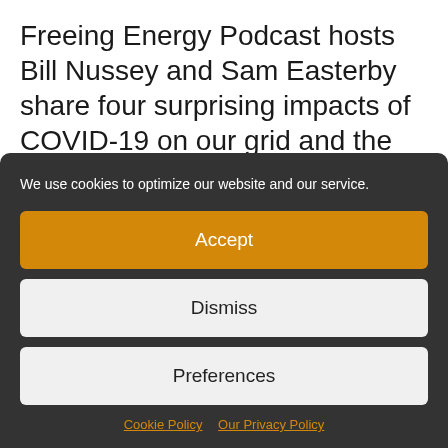Freeing Energy Podcast hosts Bill Nussey and Sam Easterby share four surprising impacts of COVID-19 on our grid and the renewable energy business.
We use cookies to optimize our website and our service.
Accept
Dismiss
Preferences
Cookie Policy  Our Privacy Policy